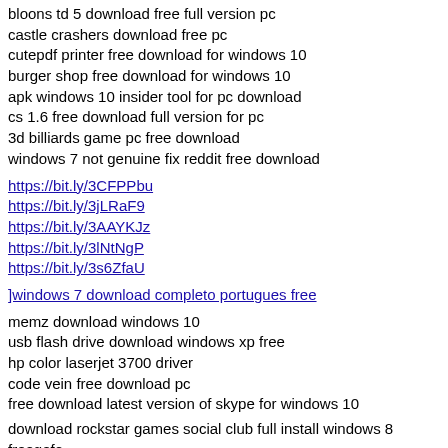bloons td 5 download free full version pc
castle crashers download free pc
cutepdf printer free download for windows 10
burger shop free download for windows 10
apk windows 10 insider tool for pc download
cs 1.6 free download full version for pc
3d billiards game pc free download
windows 7 not genuine fix reddit free download
https://bit.ly/3CFPPbu
https://bit.ly/3jLRaF9
https://bit.ly/3AAYKJz
https://bit.ly/3lNtNgP
https://bit.ly/3s6ZfaU
]windows 7 download completo portugues free
memz download windows 10
usb flash drive download windows xp free
hp color laserjet 3700 driver
code vein free download pc
free download latest version of skype for windows 10
download rockstar games social club full install windows 8 freegefo
https://bit.ly/3AzTXb4